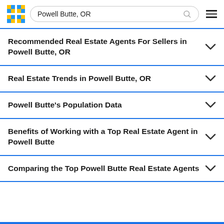Powell Butte, OR
Recommended Real Estate Agents For Sellers in Powell Butte, OR
Real Estate Trends in Powell Butte, OR
Powell Butte's Population Data
Benefits of Working with a Top Real Estate Agent in Powell Butte
Comparing the Top Powell Butte Real Estate Agents